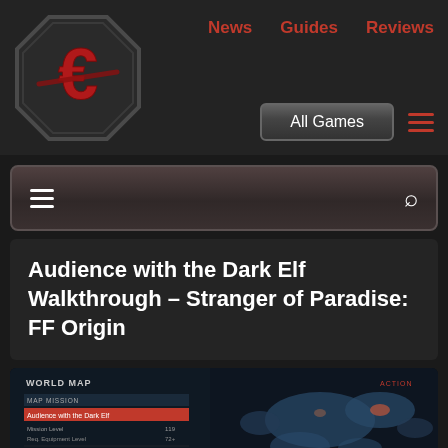News   Guides   Reviews   All Games
[Figure (logo): Gaming website logo — dark octagonal emblem with red stylized letter C/G mark]
[Figure (screenshot): Secondary navigation bar with hamburger menu icon on left and search icon on right, dark stone texture background]
Audience with the Dark Elf Walkthrough – Stranger of Paradise: FF Origin
[Figure (screenshot): World Map screen from Stranger of Paradise: FF Origin, showing mission panel with 'Audience with the Dark Elf' selected, map with landmasses visible]